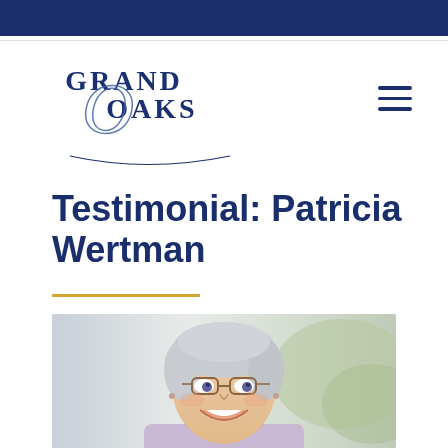Grand Oaks header bar
[Figure (logo): Grand Oaks logo with stylized script O and serif text 'GRAND OAKS']
Testimonial: Patricia Wertman
[Figure (photo): Portrait photo of Patricia Wertman, a smiling older woman with short gray hair, glasses, and a light purple turtleneck sweater]